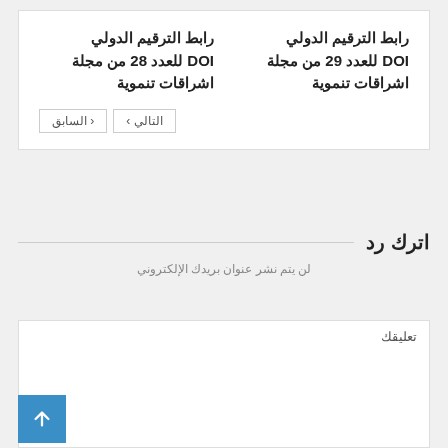رابط الترقيم الدولي DOI للعدد 29 من مجلة اشراقات تنموية
رابط الترقيم الدولي DOI للعدد 28 من مجلة اشراقات تنموية
< السابق   التالي >
اترك رد
لن يتم نشر عنوان بريدك الإلكتروني
تعليقك